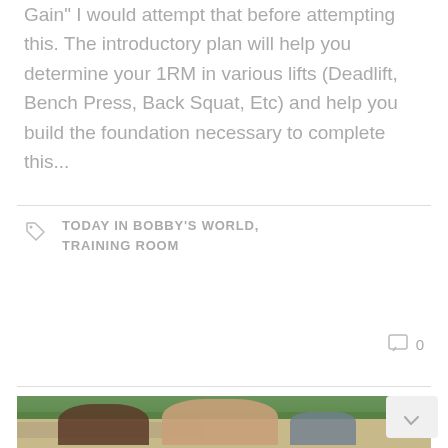Gain" I would attempt that before attempting this. The introductory plan will help you determine your 1RM in various lifts (Deadlift, Bench Press, Back Squat, Etc) and help you build the foundation necessary to complete this...
TODAY IN BOBBY'S WORLD, TRAINING ROOM
0
[Figure (photo): Outdoor photo of people working out in a backyard or outdoor gym area. Two shirtless men visible from behind/side, one appears to be sparring or exercising, with trees and a fence in the background. A third person in a t-shirt stands to the right observing.]